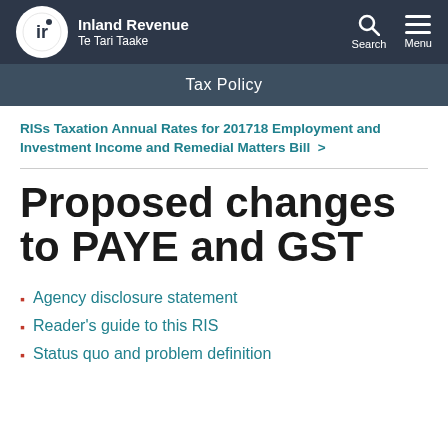[Figure (logo): Inland Revenue Te Tari Taake logo with circular IR emblem on dark navy navigation bar with Search and Menu icons]
Tax Policy
RISs Taxation Annual Rates for 201718 Employment and Investment Income and Remedial Matters Bill >
Proposed changes to PAYE and GST
Agency disclosure statement
Reader's guide to this RIS
Status quo and problem definition